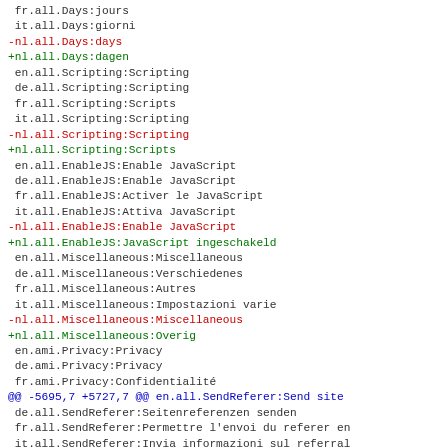fr.all.Days:jours
 it.all.Days:giorni
-nl.all.Days:days
+nl.all.Days:dagen
 en.all.Scripting:Scripting
 de.all.Scripting:Scripting
 fr.all.Scripting:Scripts
 it.all.Scripting:Scripting
-nl.all.Scripting:Scripting
+nl.all.Scripting:Scripts
 en.all.EnableJS:Enable JavaScript
 de.all.EnableJS:Enable JavaScript
 fr.all.EnableJS:Activer le JavaScript
 it.all.EnableJS:Attiva JavaScript
-nl.all.EnableJS:Enable JavaScript
+nl.all.EnableJS:JavaScript ingeschakeld
 en.all.Miscellaneous:Miscellaneous
 de.all.Miscellaneous:Verschiedenes
 fr.all.Miscellaneous:Autres
 it.all.Miscellaneous:Impostazioni varie
-nl.all.Miscellaneous:Miscellaneous
+nl.all.Miscellaneous:Overig
 en.ami.Privacy:Privacy
 de.ami.Privacy:Privacy
 fr.ami.Privacy:Confidentialité
@@ -5695,7 +5727,7 @@ en.all.SendReferer:Send site
 de.all.SendReferer:Seitenreferenzen senden
 fr.all.SendReferer:Permettre l'envoi du referer en
 it.all.SendReferer:Invia informazioni sul referral
-nl.all.SendReferer:Send site referral information